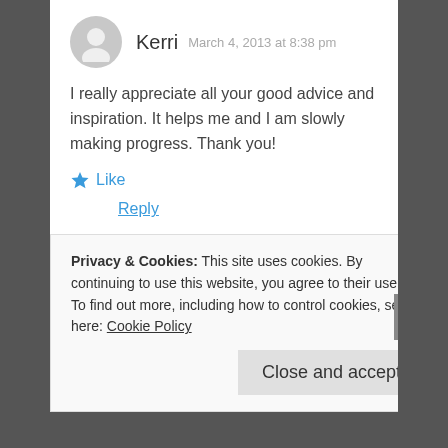Kerri  March 4, 2013 at 8:38 pm
I really appreciate all your good advice and inspiration. It helps me and I am slowly making progress. Thank you!
★ Like
Reply
Brendan Drury
Privacy & Cookies: This site uses cookies. By continuing to use this website, you agree to their use.
To find out more, including how to control cookies, see here: Cookie Policy
Close and accept